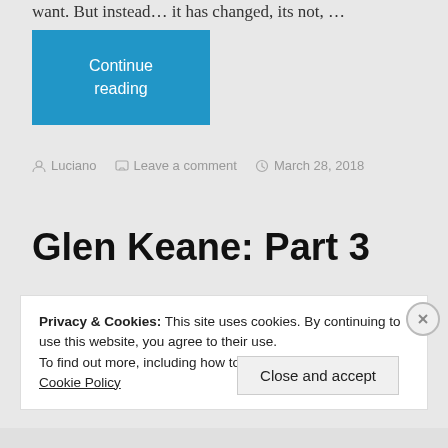want. But instead… it has changed, its not, …
Continue reading
Luciano   Leave a comment   March 28, 2018
Glen Keane: Part 3
Privacy & Cookies: This site uses cookies. By continuing to use this website, you agree to their use.
To find out more, including how to control cookies, see here: Cookie Policy
Close and accept